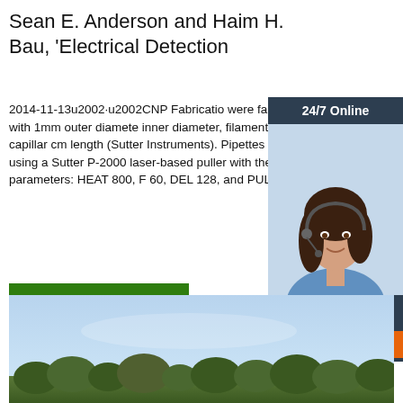Sean E. Anderson and Haim H. Bau, 'Electrical Detection
2014-11-13u2002·u2002CNP Fabricatio were fabricated with 1mm outer diamete inner diameter, filamented quartz capillar cm length (Sutter Instruments). Pipettes pulled using a Sutter P-2000 laser-based puller with the parameters: HEAT 800, F 60, DEL 128, and PULL 100.
[Figure (other): 24/7 Online chat widget with agent photo, 'Click here for free chat!' text, and orange QUOTATION button]
Get Price
[Figure (photo): Outdoor landscape photo showing blue sky with trees visible at the bottom edge]